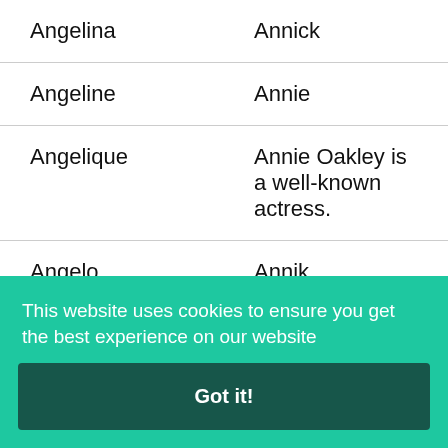| Angelina | Annick |
| Angeline | Annie |
| Angelique | Annie Oakley is a well-known actress. |
| Angelo | Annik |
| Angevin | Annika |
| Angi... | Anni... |
This website uses cookies to ensure you get the best experience on our website
Got it!